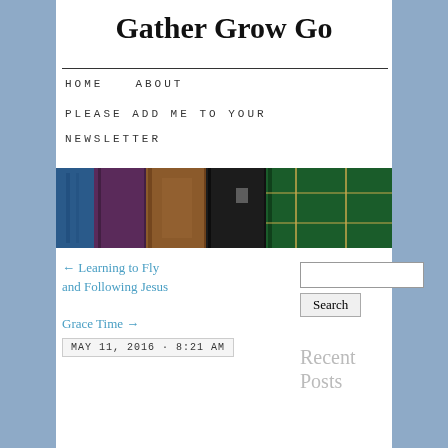Gather Grow Go
HOME   ABOUT   PLEASE ADD ME TO YOUR NEWSLETTER
[Figure (photo): Row of old books with spines showing, in colors blue, purple, brown, black, and green, photographed from the side]
← Learning to Fly and Following Jesus
Grace Time →
MAY 11, 2016 · 8:21 AM
Recent Posts